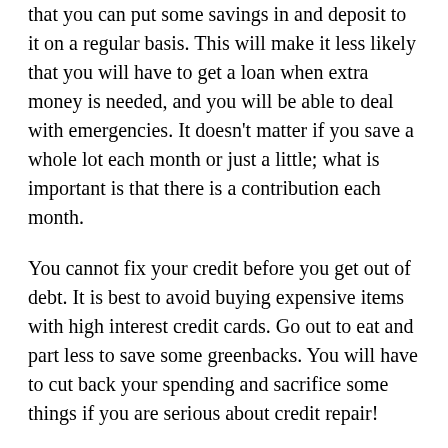that you can put some savings in and deposit to it on a regular basis. This will make it less likely that you will have to get a loan when extra money is needed, and you will be able to deal with emergencies. It doesn't matter if you save a whole lot each month or just a little; what is important is that there is a contribution each month.
You cannot fix your credit before you get out of debt. It is best to avoid buying expensive items with high interest credit cards. Go out to eat and part less to save some greenbacks. You will have to cut back your spending and sacrifice some things if you are serious about credit repair!
Most banks offer online alert services as a part of your checking or savings account. Banks frequently notify their customers of significant account changes with online alerts. Withdrawal alerts can protect you from identity fraud and theft and low balance alerts can save you from overdraft fees.